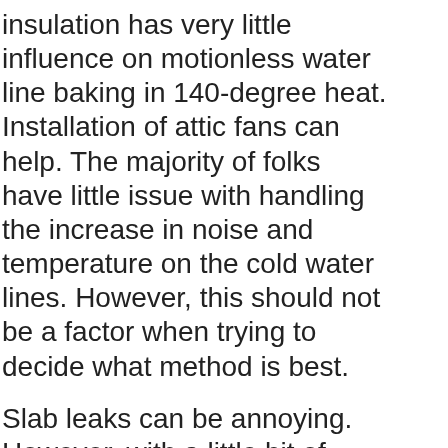insulation has very little influence on motionless water line baking in 140-degree heat. Installation of attic fans can help. The majority of folks have little issue with handling the increase in noise and temperature on the cold water lines. However, this should not be a factor when trying to decide what method is best.
Slab leaks can be annoying. However, with a little bit of research and with the help of skilled professionals, you can get control over your slab leak for a reasonable price.
Plumbing